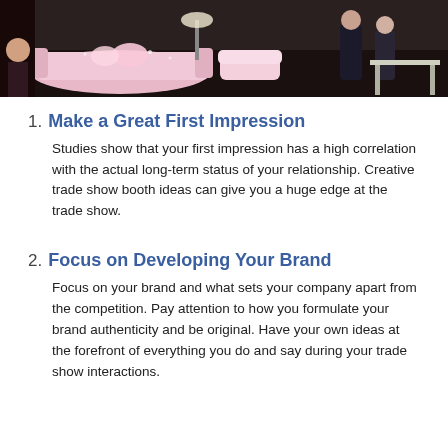[Figure (photo): Photo of a trade show booth display with pink furniture, decorative items, and attendees in a convention hall setting.]
1. Make a Great First Impression
Studies show that your first impression has a high correlation with the actual long-term status of your relationship. Creative trade show booth ideas can give you a huge edge at the trade show.
2. Focus on Developing Your Brand
Focus on your brand and what sets your company apart from the competition. Pay attention to how you formulate your brand authenticity and be original. Have your own ideas at the forefront of everything you do and say during your trade show interactions.